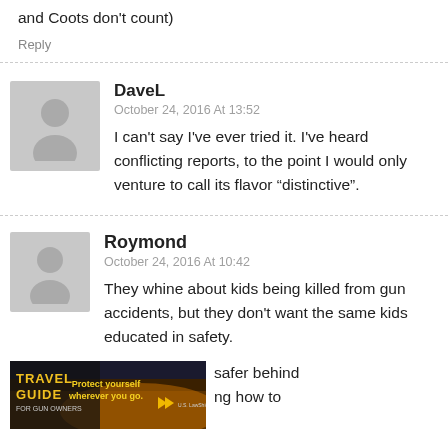Are still rare as they as before (Morganboro and Coots don't count)
Reply
DaveL
October 24, 2016 At 13:52
I can't say I've ever tried it. I've heard conflicting reports, to the point I would only venture to call its flavor “distinctive”.
Roymond
October 24, 2016 At 10:42
They whine about kids being killed from gun accidents, but they don't want the same kids educated in safety.
[Figure (photo): Travel Guide for Gun Owners advertisement banner: dark background with text 'Protect yourself wherever you go.' and golden play arrows, U.S. LawShield logo visible]
safer behind
ng how to